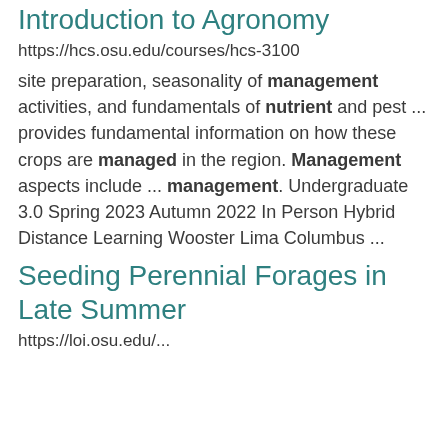Introduction to Agronomy
https://hcs.osu.edu/courses/hcs-3100
site preparation, seasonality of management activities, and fundamentals of nutrient and pest ... provides fundamental information on how these crops are managed in the region. Management aspects include ... management. Undergraduate 3.0 Spring 2023 Autumn 2022 In Person Hybrid Distance Learning Wooster Lima Columbus ...
Seeding Perennial Forages in Late Summer
https://loi.osu.edu/...